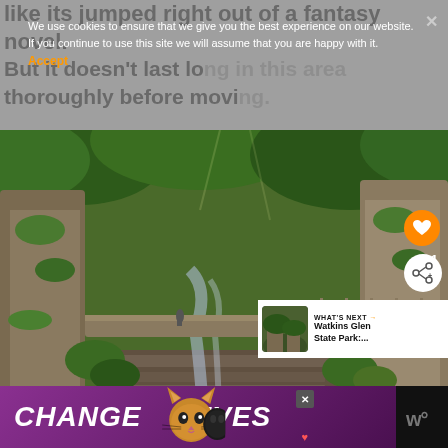like its jumped right out of a fantasy novel.
But it doesn't last long in this area thoroughly before movi.
We use cookies to ensure that we give you the best experience on our website. If you continue to use this site we will assume that you are happy with it. Accept
[Figure (photo): Scenic gorge with stone walls, lush green vegetation, mossy rocks, a pathway along the gorge, and visitors walking in the background. A cascading stream runs through layered rock formations.]
[Figure (thumbnail): What's Next thumbnail showing Watkins Glen State Park]
WHAT'S NEXT → Watkins Glen State Park:....
101
[Figure (infographic): Advertisement banner: CHANGE LIVES with a cat image, on a purple gradient background, with a close button and a heart icon.]